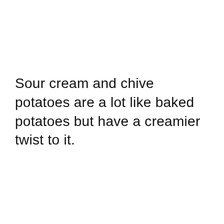Sour cream and chive potatoes are a lot like baked potatoes but have a creamier twist to it.